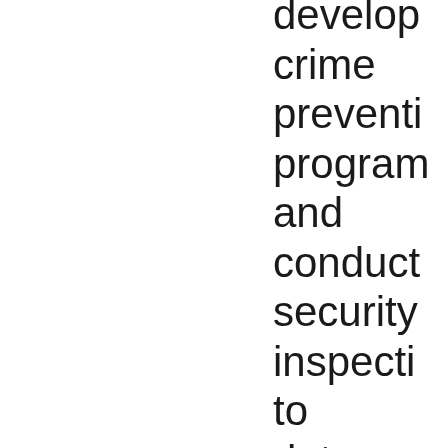develop crime prevention programs and conduct security inspections to deter criminal or delinquent activities. The SRO monitors crime statistics and works with local